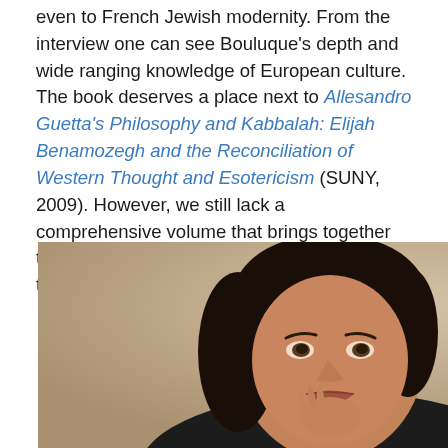even to French Jewish modernity. From the interview one can see Bouluque's depth and wide ranging knowledge of European culture. The book deserves a place next to Allesandro Guetta's Philosophy and Kabbalah: Elijah Benamozegh and the Reconciliation of Western Thought and Esotericism (SUNY, 2009). However, we still lack a comprehensive volume that brings together the full range of Benamozegh's life and thought.
[Figure (photo): Portrait photograph of a dark-haired woman resting her chin on her hand, looking toward the camera]